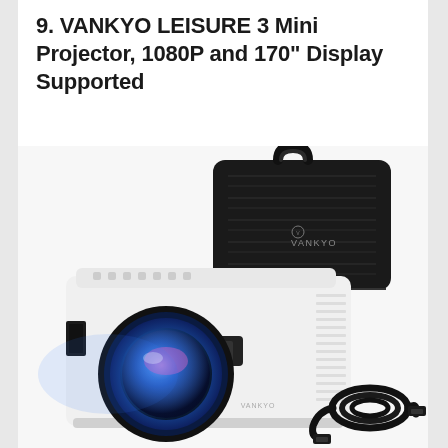9. VANKYO LEISURE 3 Mini Projector, 1080P and 170" Display Supported
[Figure (photo): Product photo of VANKYO LEISURE 3 Mini Projector (white body with blue lens glowing) accompanied by a black carrying case with handle showing VANKYO logo, and a black HDMI cable coiled in the bottom right corner. White background.]